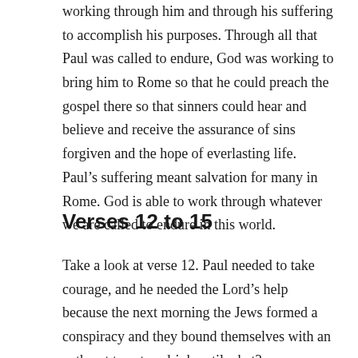working through him and through his suffering to accomplish his purposes. Through all that Paul was called to endure, God was working to bring him to Rome so that he could preach the gospel there so that sinners could hear and believe and receive the assurance of sins forgiven and the hope of everlasting life. Paul's suffering meant salvation for many in Rome. God is able to work through whatever we are called to endure in this world.
Verses 12 to 15
Take a look at verse 12. Paul needed to take courage, and he needed the Lord's help because the next morning the Jews formed a conspiracy and they bound themselves with an oath not to eat or drink until what?